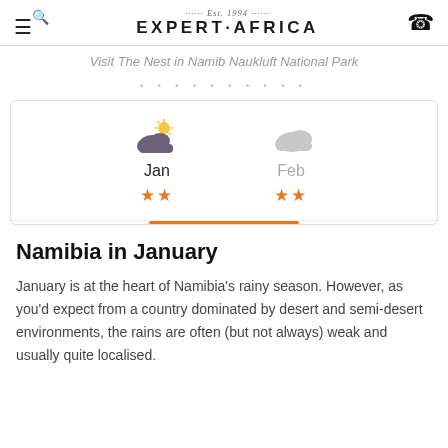Expert Africa (Est. 1994)
Visit The Nest in Namib Naukluft National Park
[Figure (infographic): Month selector showing weather icons, month names (Jan selected, Feb dimmed), and star ratings (2 stars each). An orange bar indicates the active month (January).]
Namibia in January
January is at the heart of Namibia’s rainy season. However, as you’d expect from a country dominated by desert and semi-desert environments, the rains are often (but not always) weak and usually quite localised.